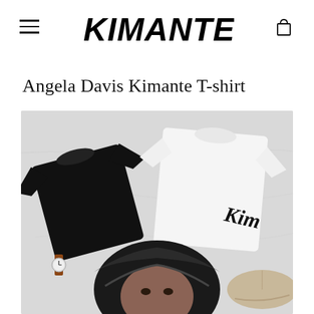KIMANTE
Angela Davis Kimante T-shirt
[Figure (photo): Product photo showing Angela Davis Kimante T-shirts laid flat on a white marble surface. A black t-shirt and a white t-shirt with 'Kim' script lettering are visible, along with a woman wearing a black head wrap peeking from the bottom, a leather strap watch, and a beige cap.]